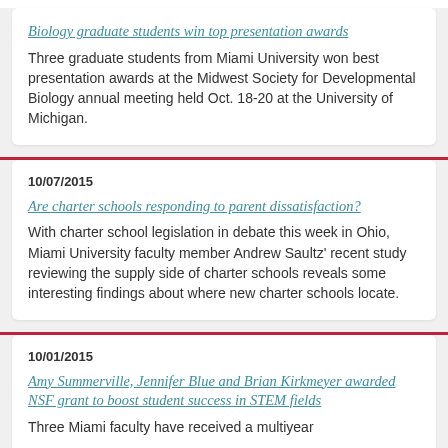Biology graduate students win top presentation awards
Three graduate students from Miami University won best presentation awards at the Midwest Society for Developmental Biology annual meeting held Oct. 18-20 at the University of Michigan.
10/07/2015
Are charter schools responding to parent dissatisfaction?
With charter school legislation in debate this week in Ohio, Miami University faculty member Andrew Saultz' recent study reviewing the supply side of charter schools reveals some interesting findings about where new charter schools locate.
10/01/2015
Amy Summerville, Jennifer Blue and Brian Kirkmeyer awarded NSF grant to boost student success in STEM fields
Three Miami faculty have received a multiyear